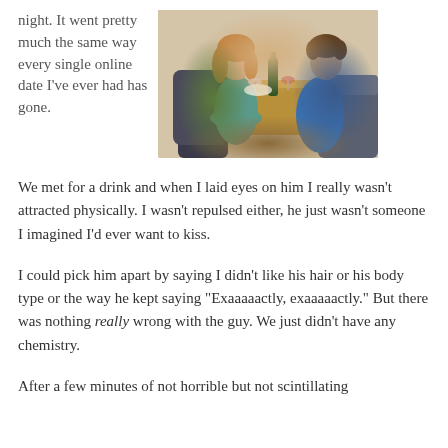night. It went pretty much the same way every single online date I've ever had has gone.
[Figure (photo): A man and a woman sitting on opposite sides of a restaurant booth table, not looking at each other. A wine bottle and glasses are on the table. The woman wears a teal top and has her arms crossed. The man wears a blue shirt and looks away.]
We met for a drink and when I laid eyes on him I really wasn't attracted physically. I wasn't repulsed either, he just wasn't someone I imagined I'd ever want to kiss.
I could pick him apart by saying I didn't like his hair or his body type or the way he kept saying "Exaaaaactly, exaaaaactly." But there was nothing really wrong with the guy. We just didn't have any chemistry.
After a few minutes of not horrible but not scintillating